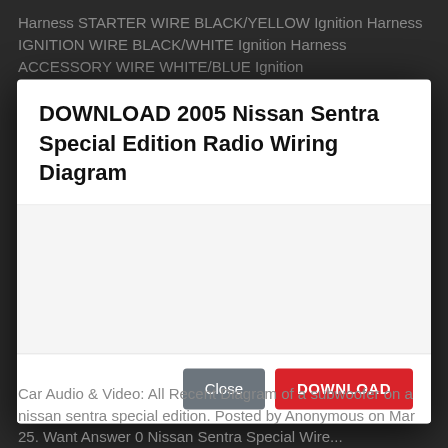Harness STARTER WIRE BLACK/YELLOW Ignition Harness IGNITION WIRE BLACK/WHITE Ignition Harness ACCESSORY WIRE WHITE/BLUE Ignition
DOWNLOAD 2005 Nissan Sentra Special Edition Radio Wiring Diagram
[Figure (screenshot): Modal dialog with Close and DOWNLOAD buttons, empty body area with light gray background]
Car Audio & Video: All Recent Diagram of a subwoofer on a nissan sentra special edition. Posted by Anonymous on Mar 25. Want Answer 0 Nissan Sentra Special Wire...